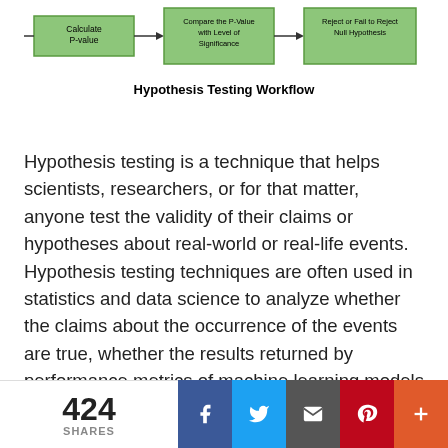[Figure (flowchart): Partial view of Hypothesis Testing Workflow flowchart showing three steps: Calculate P-value, Compare the P-Value with Level of Significance, Reject or Fail to Reject Null Hypothesis, connected by arrows]
Hypothesis Testing Workflow
Hypothesis testing is a technique that helps scientists, researchers, or for that matter, anyone test the validity of their claims or hypotheses about real-world or real-life events. Hypothesis testing techniques are often used in statistics and data science to analyze whether the claims about the occurrence of the events are true, whether the results returned by performance metrics of machine learning models are representative of the models or they happened by chance. This blog post will cover some of the key statistical concepts including steps and examples in relation
424 SHARES